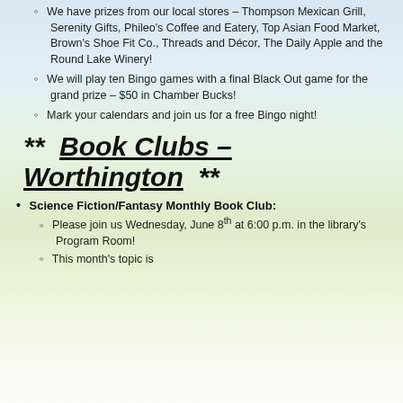Join us Monday, June 10 – from 5-7 pm for Bingo.
We have prizes from our local stores – Thompson Mexican Grill, Serenity Gifts, Phileo's Coffee and Eatery, Top Asian Food Market, Brown's Shoe Fit Co., Threads and Décor, The Daily Apple and the Round Lake Winery!
We will play ten Bingo games with a final Black Out game for the grand prize – $50 in Chamber Bucks!
Mark your calendars and join us for a free Bingo night!
** Book Clubs – Worthington **
Science Fiction/Fantasy Monthly Book Club:
Please join us Wednesday, June 8th at 6:00 p.m. in the library's Program Room!
This month's topic is